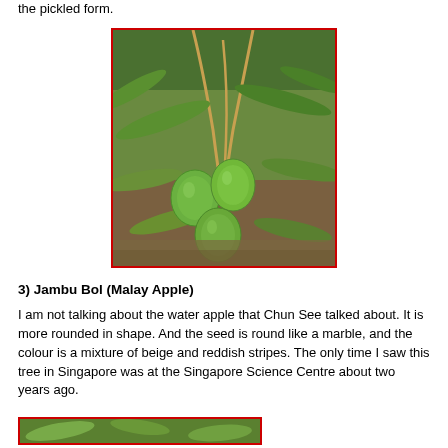the pickled form.
[Figure (photo): Photo of green oval fruits (Jambu Ayer/wax apple-like fruits) hanging on a plant with long green leaves, surrounded by foliage.]
3) Jambu Bol (Malay Apple)
I am not talking about the water apple that Chun See talked about. It is more rounded in shape. And the seed is round like a marble, and the colour is a mixture of beige and reddish stripes. The only time I saw this tree in Singapore was at the Singapore Science Centre about two years ago.
[Figure (photo): Partial photo at bottom of page showing green foliage/fruits, partially cut off.]